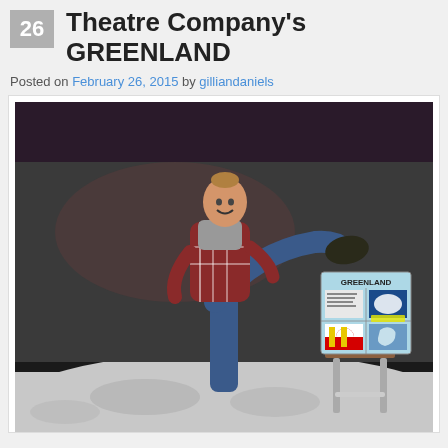Theatre Company's GREENLAND
Posted on February 26, 2015 by gilliandaniels
[Figure (photo): A woman in a plaid shirt and jeans doing a high kick on a stage, next to a stool with a GREENLAND show poster on it. The poster is blue and white with images including what appears to be Greenland's flag and map.]